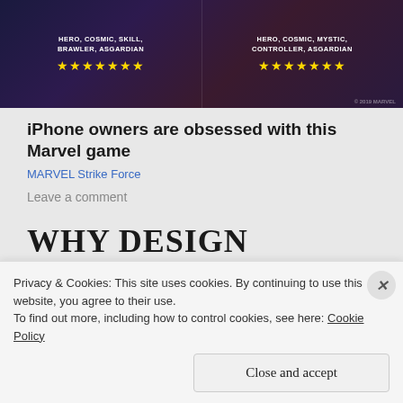[Figure (screenshot): Marvel Strike Force game advertisement showing two characters with star ratings and labels: HERO, COSMIC, SKILL, BRAWLER, ASGARDIAN on left and HERO, COSMIC, MYSTIC, CONTROLLER, ASGARDIAN on right, both with 7 gold stars]
iPhone owners are obsessed with this Marvel game
MARVEL Strike Force
Leave a comment
WHY DESIGN MATTERS AND ART UPDATE!
Privacy & Cookies: This site uses cookies. By continuing to use this website, you agree to their use.
To find out more, including how to control cookies, see here: Cookie Policy
Close and accept